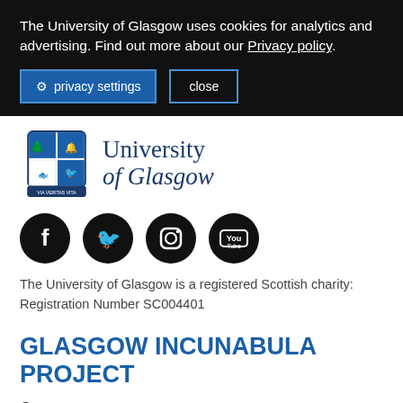The University of Glasgow uses cookies for analytics and advertising. Find out more about our Privacy policy.
privacy settings   close
[Figure (logo): University of Glasgow crest and logotype]
[Figure (illustration): Social media icons: Facebook, Twitter, Instagram, YouTube]
The University of Glasgow is a registered Scottish charity: Registration Number SC004401
GLASGOW INCUNABULA PROJECT
Contact us